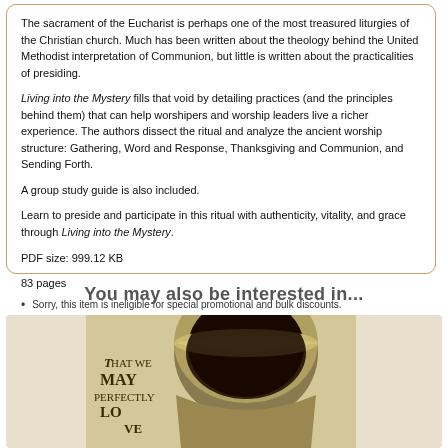The sacrament of the Eucharist is perhaps one of the most treasured liturgies of the Christian church. Much has been written about the theology behind the United Methodist interpretation of Communion, but little is written about the practicalities of presiding.
Living into the Mystery fills that void by detailing practices (and the principles behind them) that can help worshipers and worship leaders live a richer experience. The authors dissect the ritual and analyze the ancient worship structure: Gathering, Word and Response, Thanksgiving and Communion, and Sending Forth.
A group study guide is also included.
Learn to preside and participate in this ritual with authenticity, vitality, and grace through Living into the Mystery.
PDF size: 999.12 KB
83 pages
Sorry, this item is ineligible for special promotional and bulk discounts.
This is a nonreturnable, nonrefundable product.
You may also be interested in...
[Figure (photo): Book cover image showing a ceramic cup/chalice with liquid, with text reading 'THAT WE MAY PERFECTLY LO[VE]' overlaid on the image.]